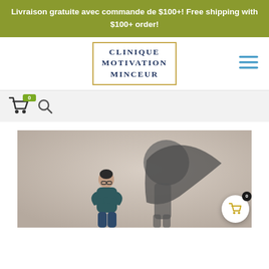Livraison gratuite avec commande de $100+! Free shipping with $100+ order!
[Figure (logo): Clinique Motivation Minceur logo — text in serif font inside a gold-bordered box]
[Figure (other): Hamburger menu icon with three teal horizontal lines]
[Figure (other): Shopping cart icon with green badge showing 0, and a magnifying glass search icon]
[Figure (photo): A person standing with arms crossed wearing glasses and a dark top, with a large superhero shadow (cape) cast on the wall behind them — motivational imagery]
[Figure (other): Floating white circular cart button with gold cart icon and dark badge showing 0]